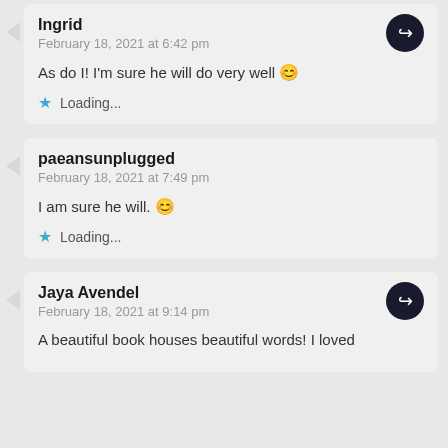Ingrid
February 18, 2021 at 6:42 pm
As do I! I'm sure he will do very well 😊
Loading...
paeansunplugged
February 18, 2021 at 7:49 pm
I am sure he will. 😊
Loading...
Jaya Avendel
February 18, 2021 at 9:14 pm
A beautiful book houses beautiful words! I loved